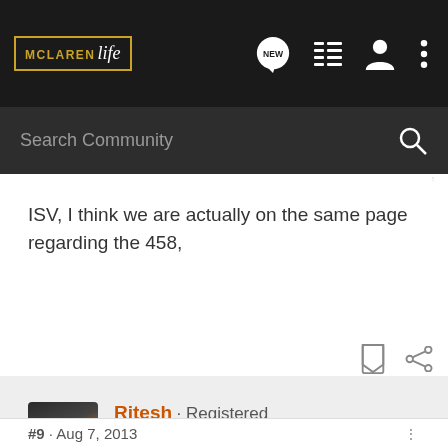McLaren Life - Search Community
ISV, I think we are actually on the same page regarding the 458,
Ritesh · Registered
Joined Apr 10, 2011 · 1,194 Posts
#9 · Aug 7, 2013